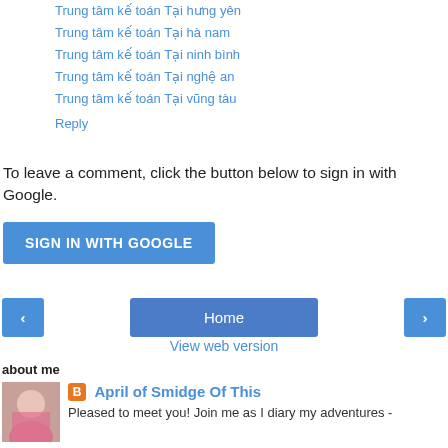Trung tâm kế toán Tại hưng yên
Trung tâm kế toán Tại hà nam
Trung tâm kế toán Tại ninh bình
Trung tâm kế toán Tại nghệ an
Trung tâm kế toán Tại vũng tàu
Reply
To leave a comment, click the button below to sign in with Google.
SIGN IN WITH GOOGLE
Home
View web version
about me
[Figure (photo): Profile photo of April of Smidge Of This]
April of Smidge Of This
Pleased to meet you! Join me as I diary my adventures -